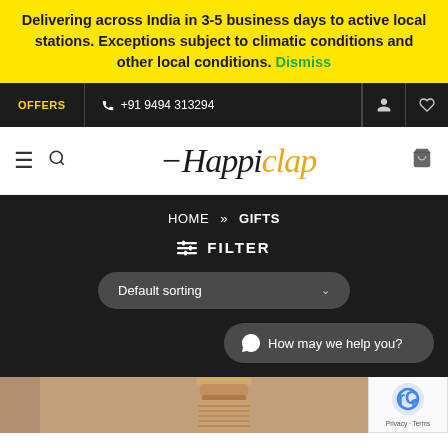Delivering across India in 3-5 business days to active local stations. Exceptions subject to climatic conditions and other local conditions. Dismiss
OFFERS  +91 9494 313294
[Figure (logo): Happiclap brand logo in stylized handwritten font]
HOME » GIFTS
⇌ FILTER
Default sorting
How may we help you?
[Figure (photo): Product photo showing a cork stopper or wooden cylindrical gift item on brownish background]